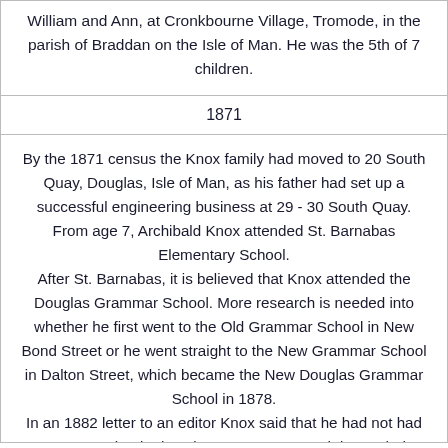William and Ann, at Cronkbourne Village, Tromode, in the parish of Braddan on the Isle of Man. He was the 5th of 7 children.
1871
By the 1871 census the Knox family had moved to 20 South Quay, Douglas, Isle of Man, as his father had set up a successful engineering business at 29 - 30 South Quay. From age 7, Archibald Knox attended St. Barnabas Elementary School. After St. Barnabas, it is believed that Knox attended the Douglas Grammar School. More research is needed into whether he first went to the Old Grammar School in New Bond Street or he went straight to the New Grammar School in Dalton Street, which became the New Douglas Grammar School in 1878. In an 1882 letter to an editor Knox said that he had not had a grammar school education so more research is needed as to whether he only attended the grammar school as an art teacher.